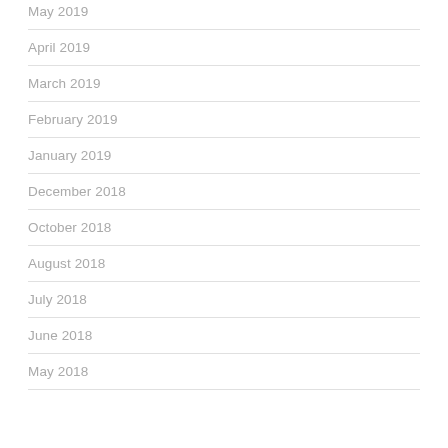May 2019
April 2019
March 2019
February 2019
January 2019
December 2018
October 2018
August 2018
July 2018
June 2018
May 2018